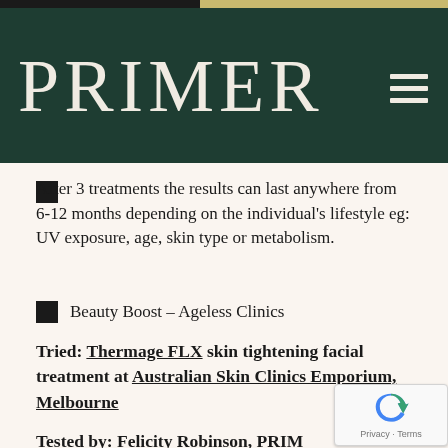PRIMER
After 3 treatments the results can last anywhere from 6-12 months depending on the individual's lifestyle eg: UV exposure, age, skin type or metabolism.
Beauty Boost – Ageless Clinics
Tried: Thermage FLX skin tightening facial treatment at Australian Skin Clinics Emporium, Melbourne
Tested by: Felicity Robinson, PRIM co-founder